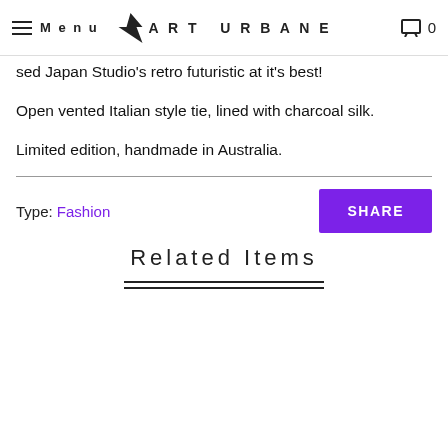Menu | ART URBANE | 0
sed Japan Studio's retro futuristic at it's best! Open vented Italian style tie, lined with charcoal silk. Limited edition, handmade in Australia.
Type: Fashion
SHARE
Related Items